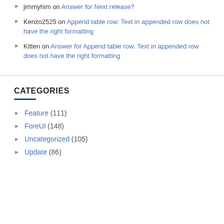jimmyhim on Answer for Next release?
Kenzo2525 on Append table row: Text in appended row does not have the right formatting
Kitten on Answer for Append table row: Text in appended row does not have the right formatting
CATEGORIES
Feature (111)
ForeUI (148)
Uncategorized (105)
Update (86)